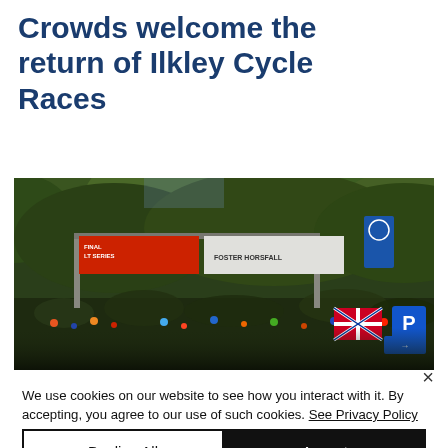Crowds welcome the return of Ilkley Cycle Races
[Figure (photo): Aerial or crowd view of Ilkley Cycle Races with red and white sponsorship banners visible over a large crowd, trees in background, parking sign and UK flag visible]
We use cookies on our website to see how you interact with it. By accepting, you agree to our use of such cookies. See Privacy Policy
Decline All
Accept
Cookie Settings